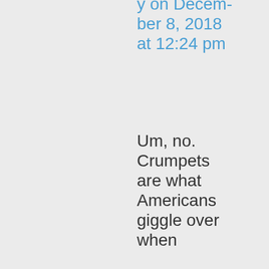y on December 8, 2018 at 12:24 pm
Um, no. Crumpets are what Americans giggle over when